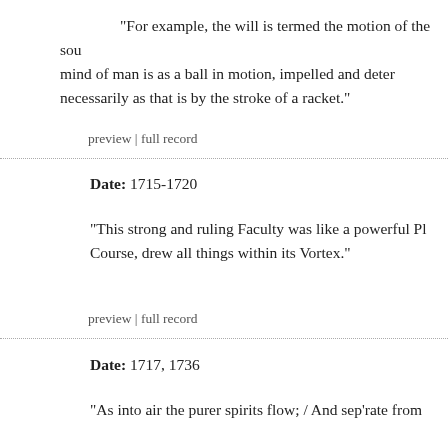"For example, the will is termed the motion of the sou mind of man is as a ball in motion, impelled and deter necessarily as that is by the stroke of a racket."
preview | full record
Date: 1715-1720
"This strong and ruling Faculty was like a powerful Pl Course, drew all things within its Vortex."
preview | full record
Date: 1717, 1736
"As into air the purer spirits flow; / And sep'rate from